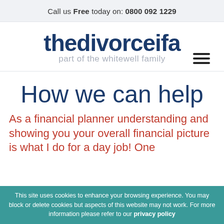Call us Free today on: 0800 092 1229
[Figure (logo): thedivorceifa logo — 'thedivorceifa' in large dark blue bold text, 'part of the whitewell family' in light grey below, hamburger menu icon to the right]
How we can help
As a financial planner understanding and showing you your overall financial picture is what I do for a day job! One
This site uses cookies to enhance your browsing experience. You may block or delete cookies but aspects of this website may not work. For more information please refer to our privacy policy